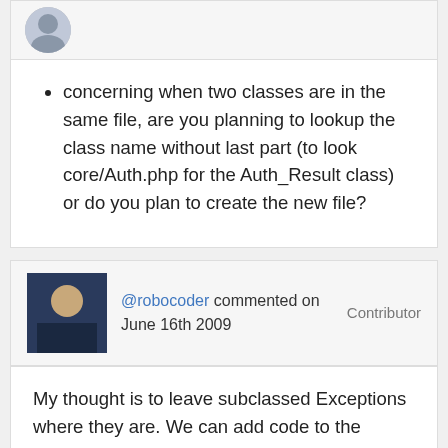concerning when two classes are in the same file, are you planning to lookup the class name without last part (to look core/Auth.php for the Auth_Result class) or do you plan to create the new file?
@robocoder commented on June 16th 2009   Contributor
My thought is to leave subclassed Exceptions where they are. We can add code to the autoloader to handle this, assuming I got the renaming right.
Something like Auth_Result should be in its own file for speed and consistency. An alternative is to continue to